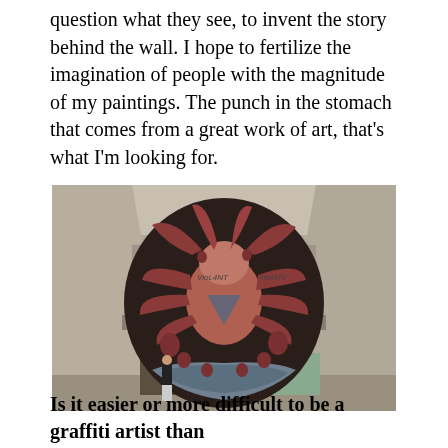question what they see, to invent the story behind the wall. I hope to fertilize the imagination of people with the magnitude of my paintings. The punch in the stomach that comes from a great work of art, that's what I'm looking for.
[Figure (photo): A large mural painted on the interior wall of an abandoned concrete building. The mural depicts a surreal, swirling creature or figure in red, brown, and blue tones against a circular dark background. A person stands at the lower left for scale. Text on the wall reads 'VioL4NT' on the left and 'MMXIV' on the right.]
Is it easier or more difficult to be a graffiti artist than